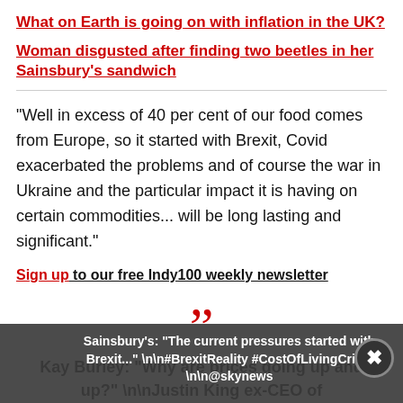What on Earth is going on with inflation in the UK?
Woman disgusted after finding two beetles in her Sainsbury's sandwich
"Well in excess of 40 per cent of our food comes from Europe, so it started with Brexit, Covid exacerbated the problems and of course the war in Ukraine and the particular impact it is having on certain commodities... will be long lasting and significant."
Sign up to our free Indy100 weekly newsletter
Kay Burley: "Why are prices going up and up?" \n\nJustin King ex-CEO of Sainsbury's: "The current pressures started with Brexit..." \n\n#BrexitReality #CostOfLivingCrisis \n\n@skynews